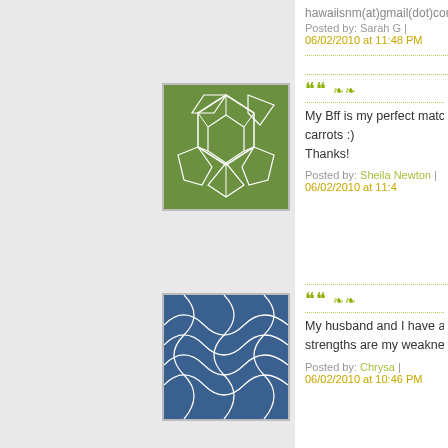hawaiisnm(at)gmail(dot)com
Posted by: Sarah G | 06/02/2010 at 11:48 PM
[Figure (illustration): Green avatar with white geometric pattern (soccer ball like cells)]
My Bff is my perfect match. We fit together... carrots :)
Thanks!
Posted by: Sheila Newton | 06/02/2010 at 11:4...
[Figure (illustration): Blue avatar with white curved wave/net pattern]
My husband and I have a "perfect scents" m... strengths are my weaknesses and vice vers...
Posted by: Chrysa | 06/02/2010 at 10:46 PM
[Figure (illustration): Light blue avatar with white curved concentric arc lines]
My Perfect Scents relationship is with my h... always steady and my shoulder to lean on.
lisalmg25 at gmail dot com
Posted by: Lisa G. | 06/02/2010 at 10:38 PM